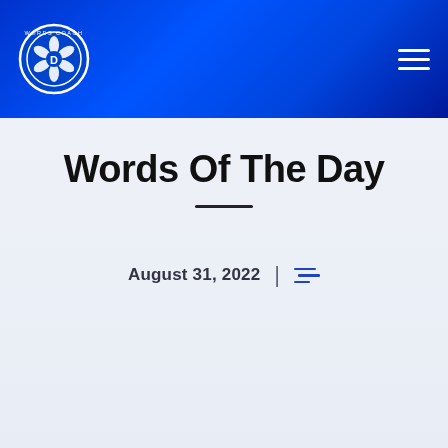[Figure (logo): Words Coach logo: circular badge with camera aperture icon and text 'WORDS COACH' around the border]
Words Of The Day
August 31, 2022